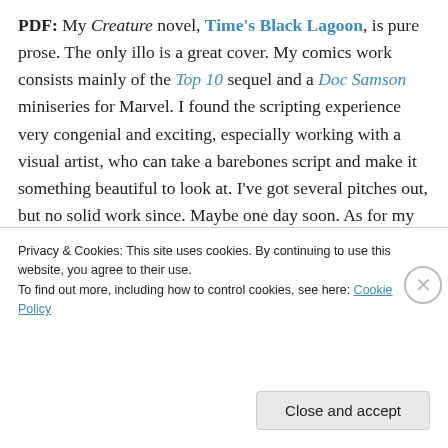PDF: My Creature novel, Time's Black Lagoon, is pure prose. The only illo is a great cover. My comics work consists mainly of the Top 10 sequel and a Doc Samson miniseries for Marvel. I found the scripting experience very congenial and exciting, especially working with a visual artist, who can take a barebones script and make it something beautiful to look at. I've got several pitches out, but no solid work since. Maybe one day soon. As for my reading, I devour practically anything: superhero stuff, reprints such as Little Lulu, Herbie, Gasoline Alley, and
Privacy & Cookies: This site uses cookies. By continuing to use this website, you agree to their use.
To find out more, including how to control cookies, see here: Cookie Policy
Close and accept